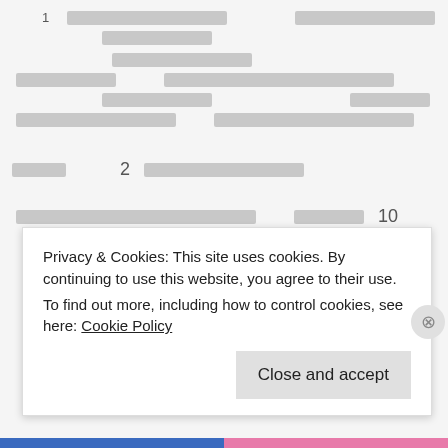[redacted content rows with Thai or encoded text]
2 [redacted section header]
[redacted text row] 10
1 [redacted text]
[redacted bottom row]
Privacy & Cookies: This site uses cookies. By continuing to use this website, you agree to their use.
To find out more, including how to control cookies, see here: Cookie Policy
Close and accept